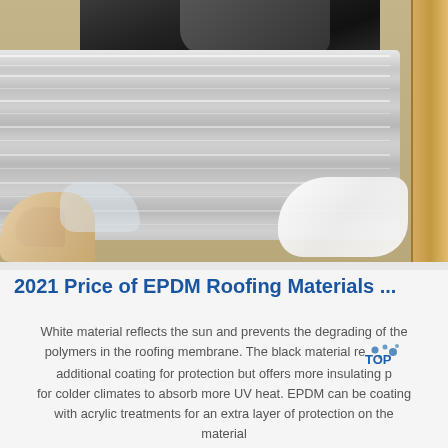[Figure (photo): A photo showing rolls of metallic/silver EPDM roofing membrane material stacked in a wooden crate, with a hand visible at the bottom left and dark black roofing material visible in the background top.]
2021 Price of EPDM Roofing Materials ...
White material reflects the sun and prevents the degrading of the polymers in the roofing membrane. The black material requires additional coating for protection but offers more insulating properties for colder climates to absorb more UV heat. EPDM can be coating with acrylic treatments for an extra layer of protection on the material.